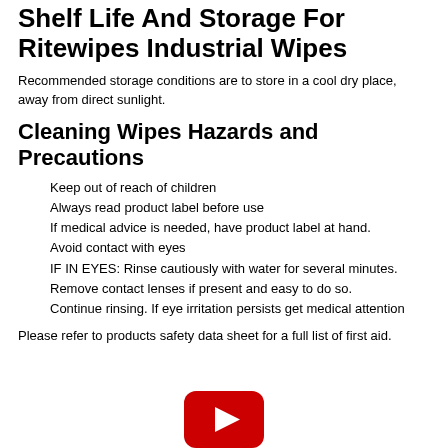Shelf Life And Storage For Ritewipes Industrial Wipes
Recommended storage conditions are to store in a cool dry place, away from direct sunlight.
Cleaning Wipes Hazards and Precautions
Keep out of reach of children
Always read product label before use
If medical advice is needed, have product label at hand.
Avoid contact with eyes
IF IN EYES: Rinse cautiously with water for several minutes.
Remove contact lenses if present and easy to do so.
Continue rinsing. If eye irritation persists get medical attention
Please refer to products safety data sheet for a full list of first aid.
[Figure (logo): YouTube play button logo in red with white triangle]